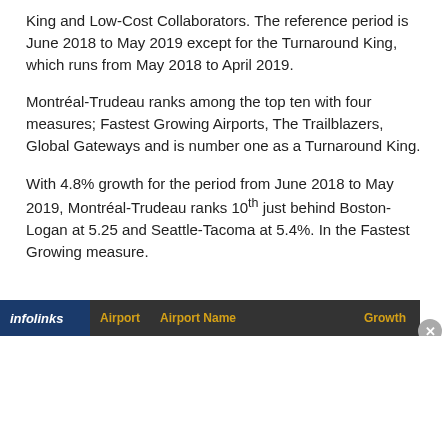King and Low-Cost Collaborators. The reference period is June 2018 to May 2019 except for the Turnaround King, which runs from May 2018 to April 2019.
Montréal-Trudeau ranks among the top ten with four measures; Fastest Growing Airports, The Trailblazers, Global Gateways and is number one as a Turnaround King.
With 4.8% growth for the period from June 2018 to May 2019, Montréal-Trudeau ranks 10th just behind Boston-Logan at 5.25 and Seattle-Tacoma at 5.4%. In the Fastest Growing measure.
| Airport | Airport Name | Growth |
| --- | --- | --- |